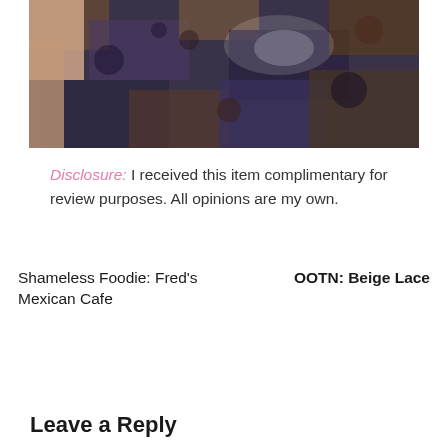[Figure (photo): Close-up photo of a hand touching a dark multi-colored granite or stone surface with blue, rust, and black flecks.]
Disclosure: I received this item complimentary for review purposes. All opinions are my own.
Shameless Foodie: Fred's Mexican Cafe    OOTN: Beige Lace
Leave a Reply